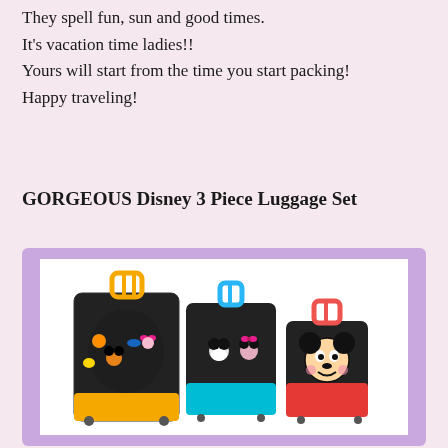They spell fun, sun and good times. It's vacation time ladies!! Yours will start from the time you start packing! Happy traveling!
GORGEOUS Disney 3 Piece Luggage Set
[Figure (photo): Three Disney-themed rolling luggage pieces: a large yellow suitcase with Mickey and friends characters, a medium blue suitcase with Mickey and Minnie, and a small red luggage/backpack with Mickey Mouse face, all on a white background inside a purple-bordered frame.]